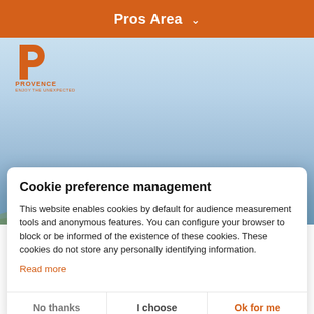Pros Area ▾
[Figure (photo): Background photo of a coastal landscape with blue sky and hills in the distance. Provence tourism logo (orange P letter) and branding in top-left.]
Cookie preference management
This website enables cookies by default for audience measurement tools and anonymous features. You can configure your browser to block or be informed of the existence of these cookies. These cookies do not store any personally identifying information.
Read more
No thanks
I choose
Ok for me